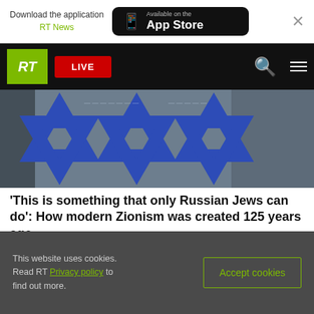Download the application RT News — Available on the App Store
[Figure (screenshot): RT news website navigation bar with green RT logo, red LIVE button, search and menu icons on black background]
[Figure (photo): Background image showing blue Star of David shapes overlaid on a grayscale scene, person with crossed arms visible on the right]
'This is something that only Russian Jews can do': How modern Zionism was created 125 years ago
FEATURE
This website uses cookies. Read RT Privacy policy to find out more.